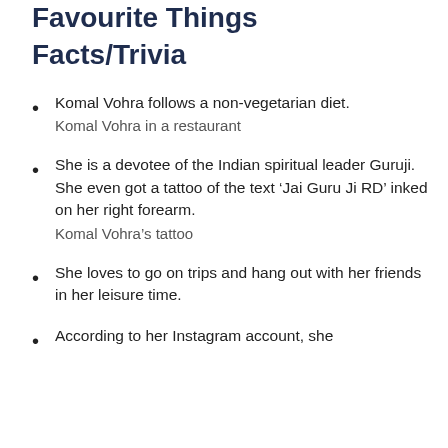Favourite Things Facts/Trivia
Komal Vohra follows a non-vegetarian diet.
Komal Vohra in a restaurant
She is a devotee of the Indian spiritual leader Guruji. She even got a tattoo of the text ‘Jai Guru Ji RD’ inked on her right forearm.
Komal Vohra’s tattoo
She loves to go on trips and hang out with her friends in her leisure time.
According to her Instagram account, she